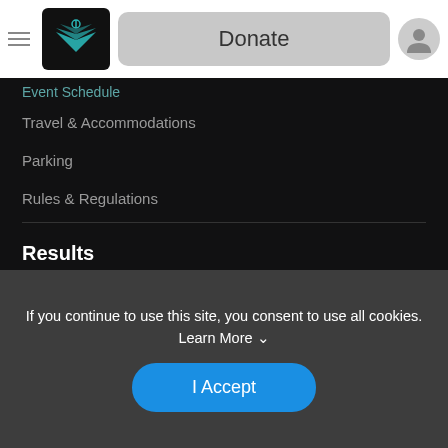Donate
Event Schedule (partial)
Travel & Accommodations
Parking
Rules & Regulations
Results
Race Info
Pricing & Policy
Awards
Packet Pick-up
CORRECT BIB# PLACEMENT
Transition Map
If you continue to use this site, you consent to use all cookies. Learn More ∨
I Accept